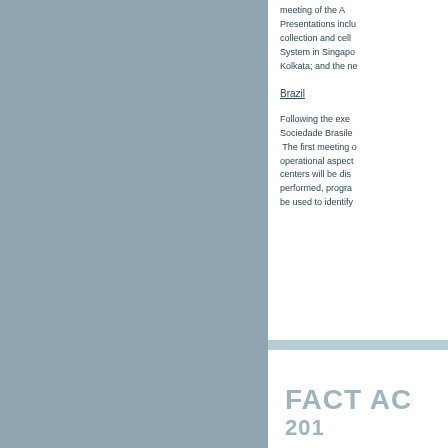meeting of the A... Presentations inclu... collection and cell... System in Singapo... Kolkata; and the ne...
Brazil
Following the exe... Sociedade Brasile...  The first meeting o... operational aspect... centers will be dis... performed, progra... be used to identify...
FACT AC... 201...